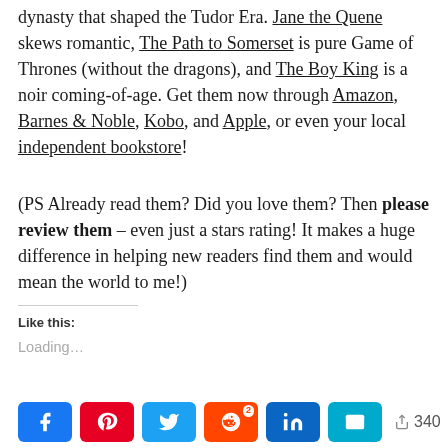dynasty that shaped the Tudor Era. Jane the Quene skews romantic, The Path to Somerset is pure Game of Thrones (without the dragons), and The Boy King is a noir coming-of-age. Get them now through Amazon, Barnes & Noble, Kobo, and Apple, or even your local independent bookstore!
(PS Already read them? Did you love them? Then please review them – even just a stars rating! It makes a huge difference in helping new readers find them and would mean the world to me!)
Like this:
Loading...